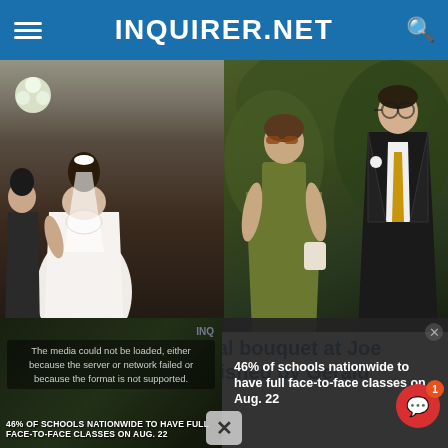INQUIRER.NET
[Figure (photo): Two-panel wedding photo. Left panel shows bride from behind in white backless gown with veil and hair bow, with a bridesmaid in dark dress beside her. Right panel shows a woman in olive/green satin dress with sunglasses posing with a man in black suit and gold tie at a garden setting.]
Julia Barretto got bridal bouquet at Joe Vargas' wedding, as wished by Gerald
[Figure (screenshot): Bottom overlay showing a video player error message reading 'The media could not be loaded, either because the server or network failed or because the format is not supported.' On the left is a video thumbnail with text '46% OF SCHOOLS NATIONWIDE TO HAVE FULL FACE-TO-FACE CLASSES ON AUG. 22'. On the right is a sidebar news headline: '46% of schools nationwide to have full face-to-face classes on Aug. 22'. A red notification bubble with chat icon shows count of 1. An X close button appears at the bottom center.]